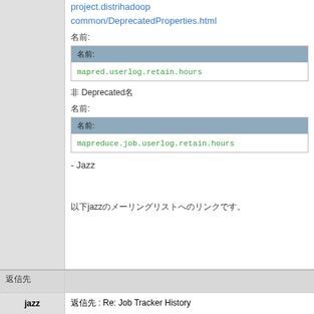project.distrihadoop common/DeprecatedProperties.html
名前:
mapred.userlog.retain.hours
非 Deprecated名
名前:
mapreduce.job.userlog.retain.hours
- Jazz
以下jazzのメーリングリストへのリンクです。
返信先 : Re: Job Tracker History